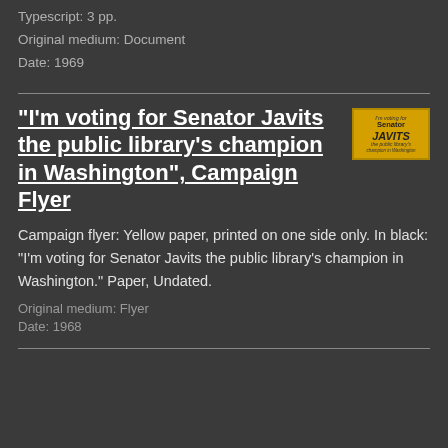Typescript: 3 pp.
Original medium: Document
Date: 1969
"I'm voting for Senator Javits the public library's champion in Washington", Campaign Flyer
[Figure (illustration): Yellow and black Senator Javits campaign flyer thumbnail image with text 'I'm voting for Senator Javits the public library's champion in Washington']
Campaign flyer: Yellow paper, printed on one side only. In black: "I'm voting for Senator Javits the public library's champion in Washington." Paper, Undated.
Original medium: Flyer
Date: 1968